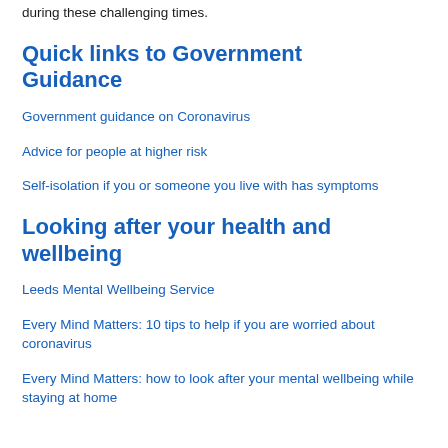during these challenging times.
Quick links to Government Guidance
Government guidance on Coronavirus
Advice for people at higher risk
Self-isolation if you or someone you live with has symptoms
Looking after your health and wellbeing
Leeds Mental Wellbeing Service
Every Mind Matters: 10 tips to help if you are worried about coronavirus
Every Mind Matters: how to look after your mental wellbeing while staying at home